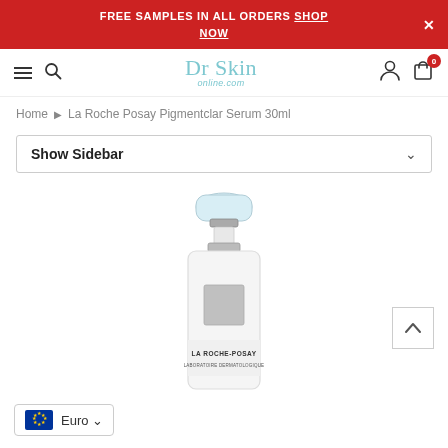FREE SAMPLES IN ALL ORDERS SHOP NOW
[Figure (screenshot): Dr Skin online.com logo with navigation icons: hamburger menu, search, user account, shopping cart with 0 badge]
Home > La Roche Posay Pigmentclar Serum 30ml
Show Sidebar
[Figure (photo): La Roche-Posay Pigmentclar Serum 30ml product bottle - white pump dispenser bottle with silver/chrome pump mechanism and La Roche-Posay Laboratoire Dermatologique label]
Euro